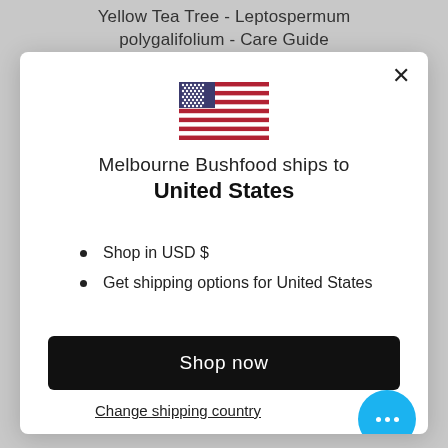Yellow Tea Tree - Leptospermum polygalifolium - Care Guide
[Figure (illustration): US flag icon — stars and stripes, blue canton with white stars, red and white horizontal stripes]
Melbourne Bushfood ships to United States
Shop in USD $
Get shipping options for United States
Shop now
Change shipping country